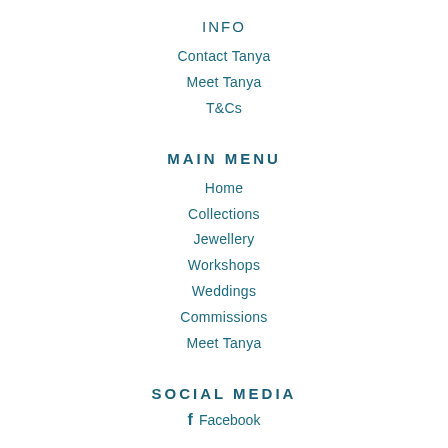INFO
Contact Tanya
Meet Tanya
T&Cs
MAIN MENU
Home
Collections
Jewellery
Workshops
Weddings
Commissions
Meet Tanya
SOCIAL MEDIA
Facebook